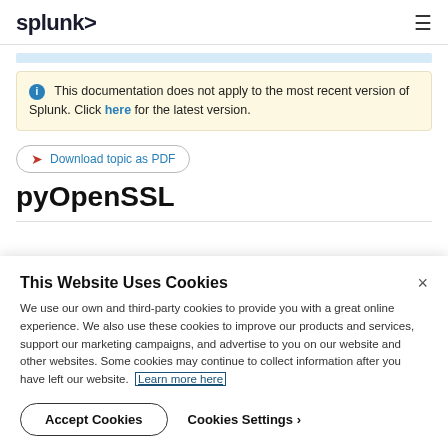splunk>
This documentation does not apply to the most recent version of Splunk. Click here for the latest version.
Download topic as PDF
pyOpenSSL
This Website Uses Cookies
We use our own and third-party cookies to provide you with a great online experience. We also use these cookies to improve our products and services, support our marketing campaigns, and advertise to you on our website and other websites. Some cookies may continue to collect information after you have left our website. Learn more here
Accept Cookies   Cookies Settings ›